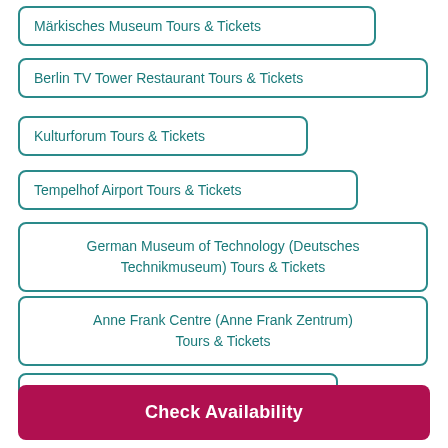Märkisches Museum Tours & Tickets
Berlin TV Tower Restaurant Tours & Tickets
Kulturforum Tours & Tickets
Tempelhof Airport Tours & Tickets
German Museum of Technology (Deutsches Technikmuseum) Tours & Tickets
Anne Frank Centre (Anne Frank Zentrum) Tours & Tickets
Hackescher Höfe Tours & Tickets
Check Availability